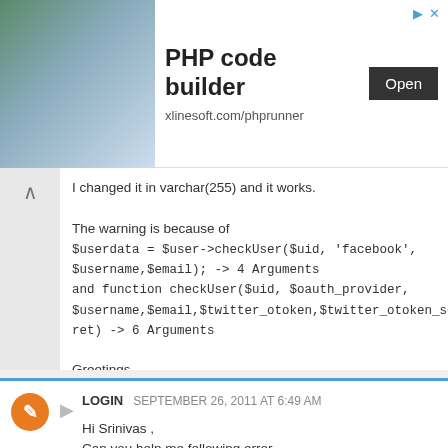[Figure (screenshot): Advertisement banner for PHP code builder by xlinesoft.com/phprunner with an Open button]
I changed it in varchar(255) and it works.

The warning is because of $userdata = $user->checkUser($uid, 'facebook', $username,$email); -> 4 Arguments and function checkUser($uid, $oauth_provider, $username,$email,$twitter_otoken,$twitter_otoken_secret) -> 6 Arguments

Greetings
Reply
LOGIN  SEPTEMBER 26, 2011 AT 6:49 AM

Hi Srinivas ,
Can you help me following error

Chkuser?